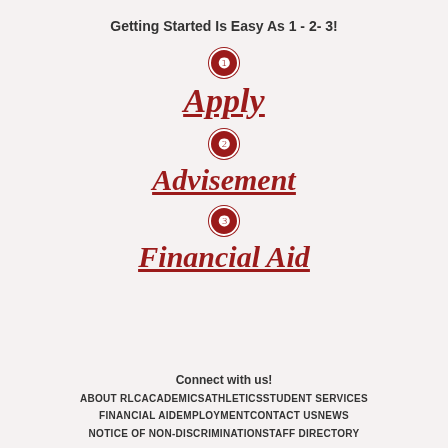Getting Started Is Easy As 1 - 2- 3!
① Apply
② Advisement
③ Financial Aid
Connect with us!
ABOUT RLC   ACADEMICS   ATHLETICS   STUDENT SERVICES   FINANCIAL AID   EMPLOYMENT   CONTACT US   NEWS   NOTICE OF NON-DISCRIMINATION   STAFF DIRECTORY